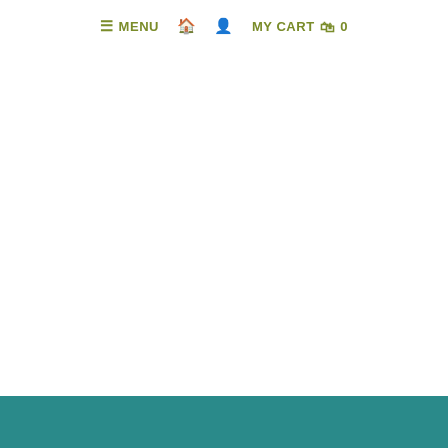≡ MENU  🏠  👤  MY CART  🛍  0
[Figure (illustration): Cartoon kiwi bird illustration: a teal/dark-green kiwi bird with a long brown beak, standing on a green grass mound with small orange and yellow flowers. The bird has a round body, brown feet, and is looking upward and to the left.]